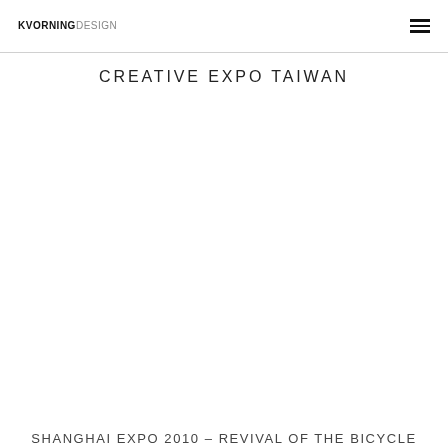KVORNINGDESIGN
CREATIVE EXPO TAIWAN
SHANGHAI EXPO 2010 – REVIVAL OF THE BICYCLE